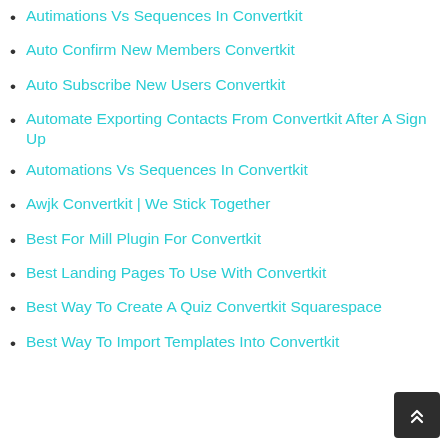Autimations Vs Sequences In Convertkit
Auto Confirm New Members Convertkit
Auto Subscribe New Users Convertkit
Automate Exporting Contacts From Convertkit After A Sign Up
Automations Vs Sequences In Convertkit
Awjk Convertkit | We Stick Together
Best For Mill Plugin For Convertkit
Best Landing Pages To Use With Convertkit
Best Way To Create A Quiz Convertkit Squarespace
Best Way To Import Templates Into Convertkit